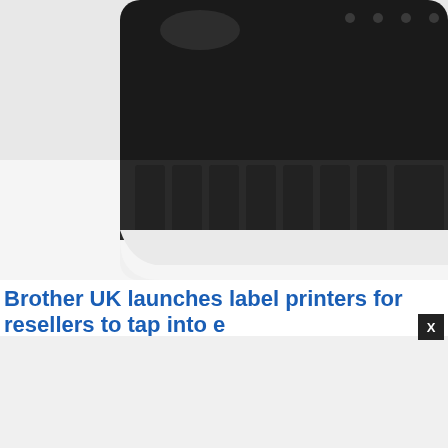[Figure (photo): Close-up top view of a black and white label printer, showing the black label output tray with multiple sections, on a white body]
Brother UK launches label printers for resellers to tap into e
16th April 2018
[Figure (photo): Partially visible image below the article title — left portion shows a light grey/white background, right portion shows a skin-toned surface (person)]